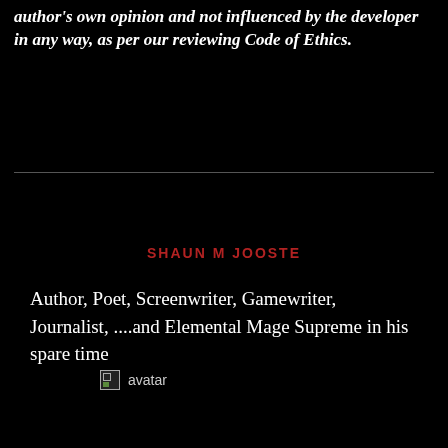author's own opinion and not influenced by the developer in any way, as per our reviewing Code of Ethics.
SHAUN M JOOSTE
Author, Poet, Screenwriter, Gamewriter, Journalist, ....and Elemental Mage Supreme in his spare time
[Figure (photo): Broken image placeholder labeled 'avatar']